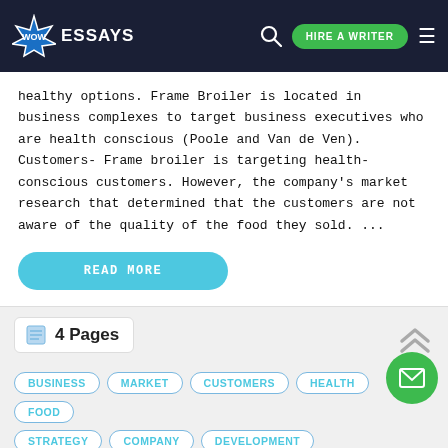WOW ESSAYS | HIRE A WRITER
healthy options. Frame Broiler is located in business complexes to target business executives who are health conscious (Poole and Van de Ven). Customers- Frame broiler is targeting health-conscious customers. However, the company's market research that determined that the customers are not aware of the quality of the food they sold. ...
READ MORE
4 Pages
BUSINESS
MARKET
CUSTOMERS
HEALTH
FOOD
STRATEGY
COMPANY
DEVELOPMENT
We use cookies to enhance our website for you. Proceed if you agree to this policy or learn more about it.